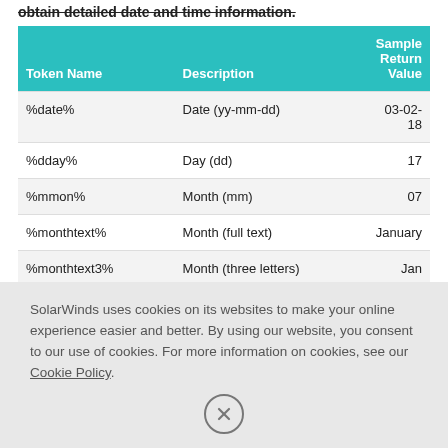obtain detailed date and time information.
| Token Name | Description | Sample Return Value |
| --- | --- | --- |
| %date% | Date (yy-mm-dd) | 03-02-18 |
| %dday% | Day (dd) | 17 |
| %mmon% | Month (mm) | 07 |
| %monthtext% | Month (full text) | January |
| %monthtext3% | Month (three letters) | Jan |
| %week% | Week in current month (one | 1 |
SolarWinds uses cookies on its websites to make your online experience easier and better. By using our website, you consent to our use of cookies. For more information on cookies, see our Cookie Policy.